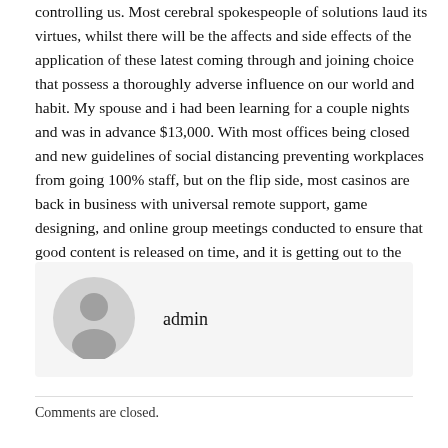controlling us. Most cerebral spokespeople of solutions laud its virtues, whilst there will be the affects and side effects of the application of these latest coming through and joining choice that possess a thoroughly adverse influence on our world and habit. My spouse and i had been learning for a couple nights and was in advance $13,000. With most offices being closed and new guidelines of social distancing preventing workplaces from going 100% staff, but on the flip side, most casinos are back in business with universal remote support, game designing, and online group meetings conducted to ensure that good content is released on time, and it is getting out to the target audience.
[Figure (illustration): Grey avatar silhouette icon with user profile image placeholder, circular shape]
admin
Comments are closed.